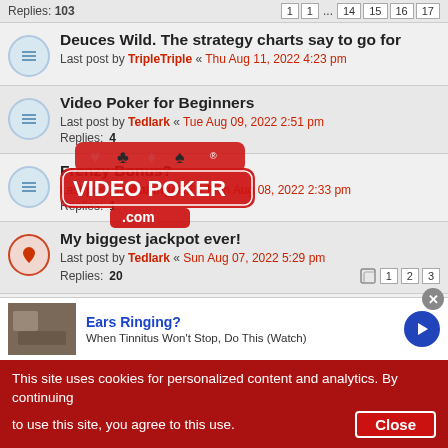Replies: 103
Deuces Wild. The strategy charts say to go for
Last post by TripleTriple « Thu Aug 11, 2022 4:23 pm
[Figure (logo): VideoPoker.com logo with card suits]
Video Poker for Beginners
Last post by Tedlark « Tue Aug 09, 2022 2:51 pm
Replies: 4
Frenzy Bonus?
Last post by Waiting4RF « Mon Aug 08, 2022 2:33 pm
Replies: 1
My biggest jackpot ever!
Last post by Tedlark « Sun Aug 07, 2022 5:29 pm
Replies: 20
Double Double Bonus = 2400 in windings :-)
Last post by jtr73 « Sun Aug 07, 2022 7:34 am
Replies: 4
Probability with one Joker
Ears Ringing? When Tinnitus Won't Stop, Do This (Watch)
This site uses cookies for personalized content and analytics. By continuing to use this site, you agree to this use. Close